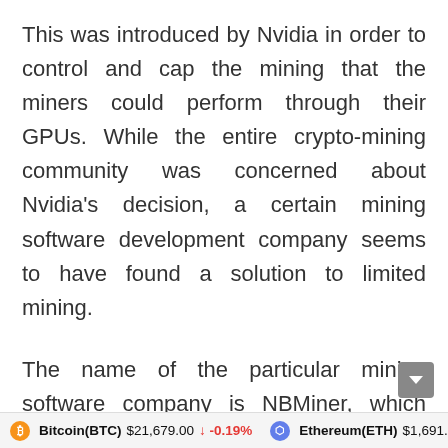This was introduced by Nvidia in order to control and cap the mining that the miners could perform through their GPUs. While the entire crypto-mining community was concerned about Nvidia's decision, a certain mining software development company seems to have found a solution to limited mining.
The name of the particular mining software company is NBMiner, which claims to have cracked the anti-mining limitations set b...
Bitcoin(BTC) $21,679.00 ↓ -0.19%   Ethereum(ETH) $1,691.02